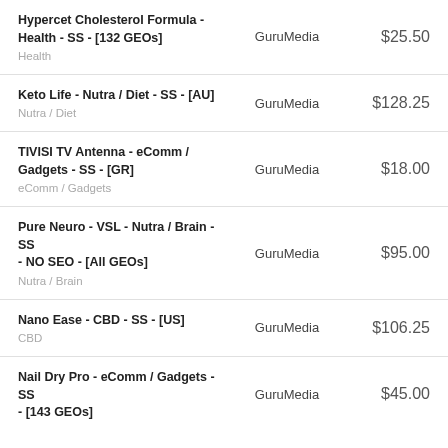| Product | Network | Price |
| --- | --- | --- |
| Hypercet Cholesterol Formula - Health - SS - [132 GEOs]
Health | GuruMedia | $25.50 |
| Keto Life - Nutra / Diet - SS - [AU]
Nutra / Diet | GuruMedia | $128.25 |
| TIVISI TV Antenna - eComm / Gadgets - SS - [GR]
eComm / Gadgets | GuruMedia | $18.00 |
| Pure Neuro - VSL - Nutra / Brain - SS - NO SEO - [All GEOs]
Nutra / Brain | GuruMedia | $95.00 |
| Nano Ease - CBD - SS - [US]
CBD | GuruMedia | $106.25 |
| Nail Dry Pro - eComm / Gadgets - SS - [143 GEOs] | GuruMedia | $45.00 |